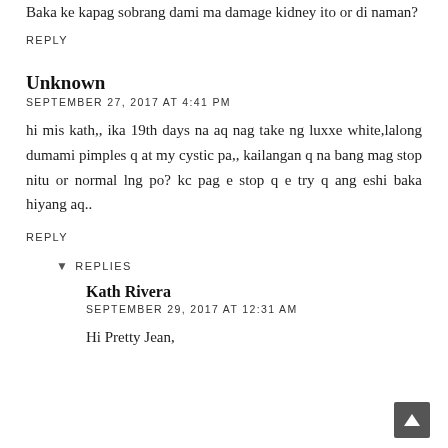Baka ke kapag sobrang dami ma damage kidney ito or di naman?
REPLY
Unknown
SEPTEMBER 27, 2017 AT 4:41 PM
hi mis kath,, ika 19th days na aq nag take ng luxxe white,lalong dumami pimples q at my cystic pa,, kailangan q na bang mag stop nitu or normal lng po? kc pag e stop q e try q ang eshi baka hiyang aq..
REPLY
REPLIES
Kath Rivera
SEPTEMBER 29, 2017 AT 12:31 AM
Hi Pretty Jean,